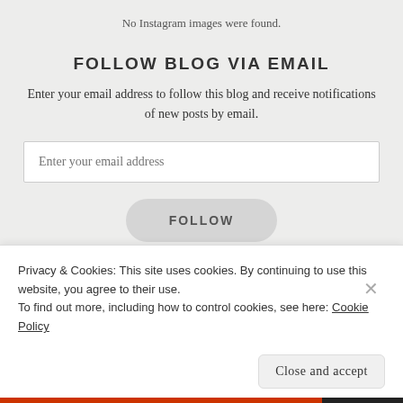No Instagram images were found.
FOLLOW BLOG VIA EMAIL
Enter your email address to follow this blog and receive notifications of new posts by email.
Enter your email address
FOLLOW
Privacy & Cookies: This site uses cookies. By continuing to use this website, you agree to their use. To find out more, including how to control cookies, see here: Cookie Policy
Close and accept